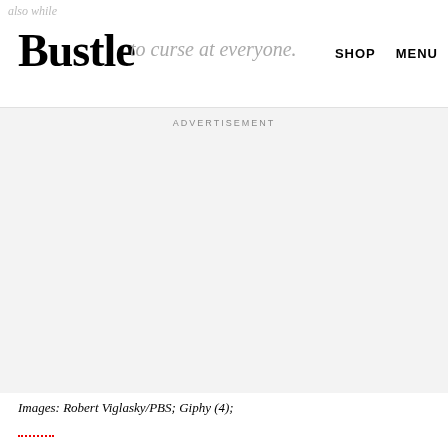Bustle | SHOP | MENU
to curse at everyone.
ADVERTISEMENT
Images: Robert Viglasky/PBS; Giphy (4);